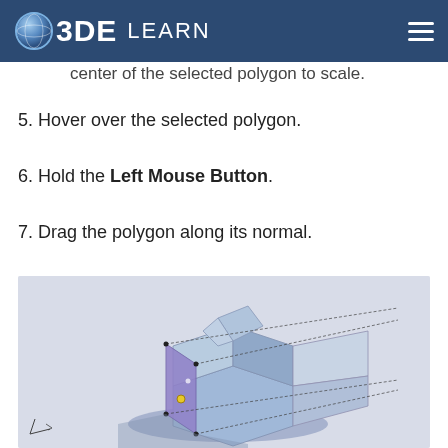O3DE LEARN
center of the selected polygon to scale.
5. Hover over the selected polygon.
6. Hold the Left Mouse Button.
7. Drag the polygon along its normal.
[Figure (screenshot): 3D viewport screenshot showing a 3D model with a purple/blue selected polygon face being dragged along its normal, with shadow and wireframe guide lines visible on a light gray background.]